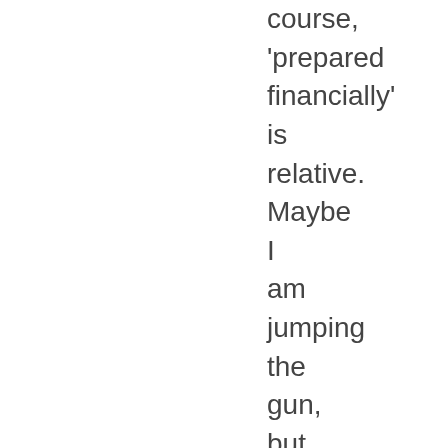course, 'prepared financially' is relative. Maybe I am jumping the gun, but this statement is often an excuse for putting off children, so I am sensitive to